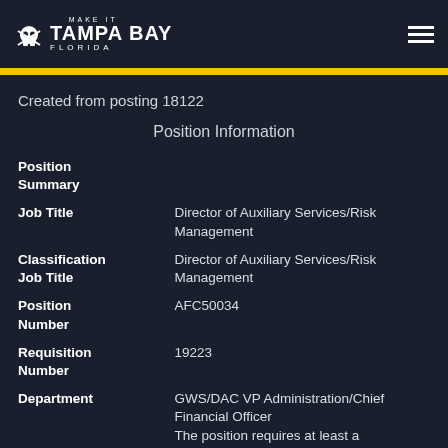[Figure (logo): Make It Tampa Bay Florida logo with skull crossbones icon, white text on dark background]
Created from posting 18122
Position Information
| Field | Value |
| --- | --- |
| Position Summary |  |
| Job Title | Director of Auxiliary Services/Risk Management |
| Classification Job Title | Director of Auxiliary Services/Risk Management |
| Position Number | AFC50034 |
| Requisition Number | 19223 |
| Department | GWS/DAC VP Administration/Chief Financial Officer |
|  | The position requires at least a |